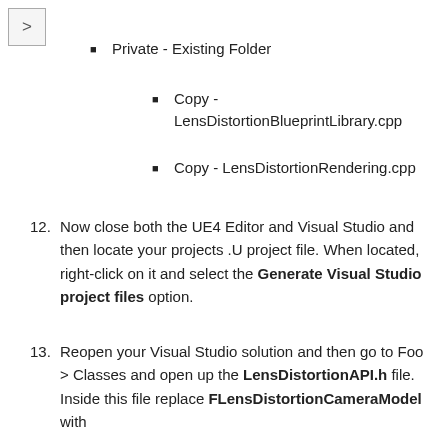Private - Existing Folder
Copy - LensDistortionBlueprintLibrary.cpp
Copy - LensDistortionRendering.cpp
Now close both the UE4 Editor and Visual Studio and then locate your projects .U project file. When located, right-click on it and select the Generate Visual Studio project files option.
Reopen your Visual Studio solution and then go to Foo > Classes and open up the LensDistortionAPI.h file. Inside this file replace FLensDistortionCameraModel with